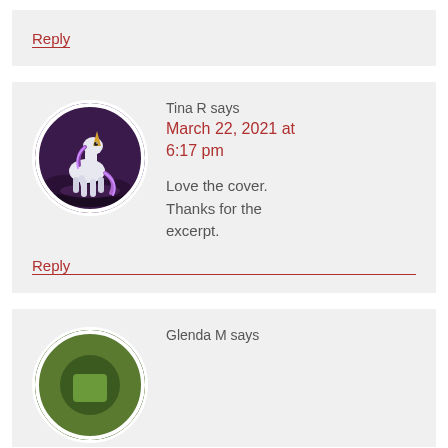Reply
Tina R says
March 22, 2021 at 6:17 pm
Love the cover. Thanks for the excerpt.
Reply
Glenda M says